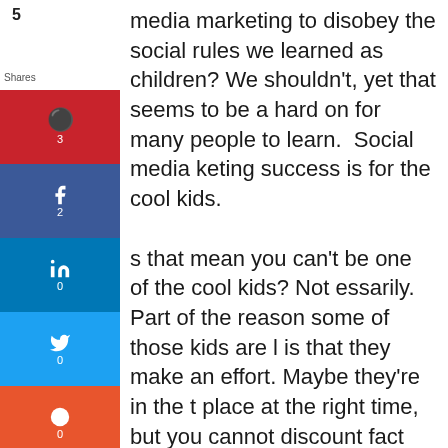[Figure (infographic): Social media share sidebar with Pinterest (3), Facebook (2), LinkedIn (0), Twitter (0), StumbleUpon (0), WhatsApp (0), Telegram (0), and Heart/Like (0) buttons. Shows '5 Shares' counter at top.]
media marketing to disobey the social rules we learned as children? We shouldn't, yet that seems to be a hard on for many people to learn.  Social media keting success is for the cool kids.

s that mean you can't be one of the cool kids? Not essarily. Part of the reason some of those kids are l is that they make an effort. Maybe they're in the t place at the right time, but you cannot discount fact that they put in the work to achieve social dia popularity. In fact, social media popularity often t the end goal itself for many of them, yet it is for ers.

nk back to high school football and the difference ween the starting quarterback and the head